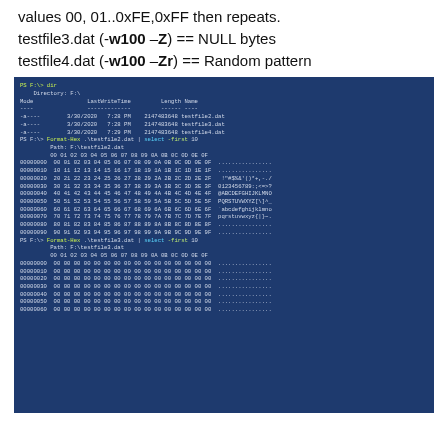values 00, 01..0xFE,0xFF then repeats.
testfile3.dat (-w100 –Z) == NULL bytes
testfile4.dat (-w100 –Zr) == Random pattern
[Figure (screenshot): PowerShell terminal showing dir listing of F:\ with three testfile .dat files each 2147483648 bytes dated 3/30/2020, followed by Format-Hex output for testfile2.dat (sequential 00-FF bytes) and beginning of Format-Hex output for testfile3.dat (all 00 NULL bytes)]